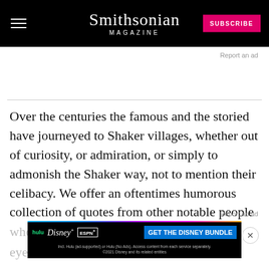Smithsonian Magazine
Report an ad
Over the centuries the famous and the storied have journeyed to Shaker villages, whether out of curiosity, or admiration, or simply to admonish the Shaker way, not to mention their celibacy. We offer an oftentimes humorous collection of quotes from other notable people who h... eyebro... ...low into how the Shakers were regarded during their
Report an ad
[Figure (infographic): Disney Bundle advertisement banner featuring Hulu, Disney+, and ESPN+ logos with a 'Get the Disney Bundle' call to action button and fine print text]